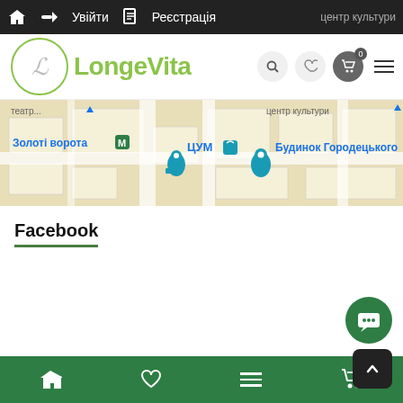Увійти  Реєстрація  центр культури
[Figure (logo): LongeVita logo with circular border and green text]
[Figure (map): Google Maps screenshot showing Kyiv area with landmarks: Золоті ворота, ЦУМ, Будинок Городецького]
Facebook
[Figure (other): Green circular chat/messenger button]
[Figure (other): Dark scroll-to-top button with upward arrow]
Bottom navigation bar with home, heart, menu, and cart icons